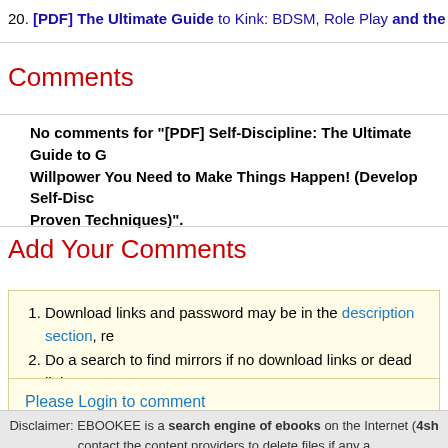20. [PDF] The Ultimate Guide to Kink: BDSM, Role Play and the Eroti
Comments
No comments for "[PDF] Self-Discipline: The Ultimate Guide to G... Willpower You Need to Make Things Happen! (Develop Self-Disc... Proven Techniques)".
Add Your Comments
1. Download links and password may be in the description section, re
2. Do a search to find mirrors if no download links or dead links.
Please Login to comment
Disclaimer: EBOOKEE is a search engine of ebooks on the Internet (4sh... contact the content providers to delete files if any a... ©2007-2010, Copyright www.ebookee.net | Te